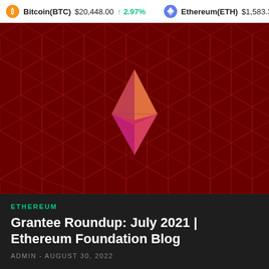Bitcoin(BTC) $20,448.00 ↑ 2.97%   Ethereum(ETH) $1,583.3
[Figure (illustration): Dark red background with geometric hexagonal/star pattern lines. In the center is the Ethereum diamond logo in gradient colors from gold/orange at top to pink/magenta at bottom.]
ETHEREUM
Grantee Roundup: July 2021 | Ethereum Foundation Blog
ADMIN - AUGUST 30, 2022